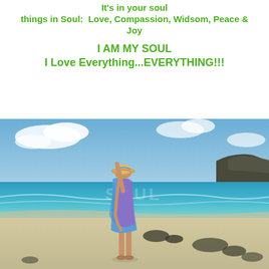It's in your soul things in Soul:  Love, Compassion, Widsom, Peace & Joy
I AM MY SOUL
I Love Everything...EVERYTHING!!!
[Figure (photo): A person standing on a beach, arching backward with arms raised toward the sky, wearing a colorful blue and purple sarong and a hat. The beach has white sand, turquoise ocean water, blue sky with clouds, and rocky outcroppings in the background. The word SOUL appears faintly overlaid on the water.]